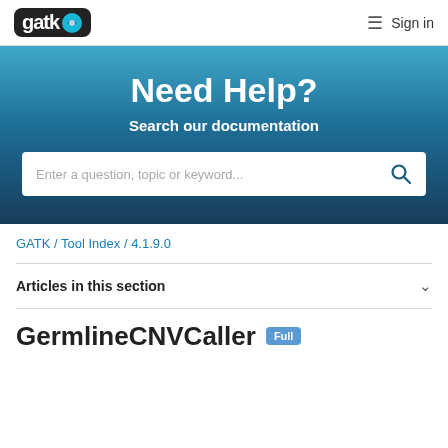gatk [logo] ≡ Sign in
Need Help?
Search our documentation
Enter a question, topic or keyword...
GATK / Tool Index / 4.1.9.0
Articles in this section
GermlineCNVCaller